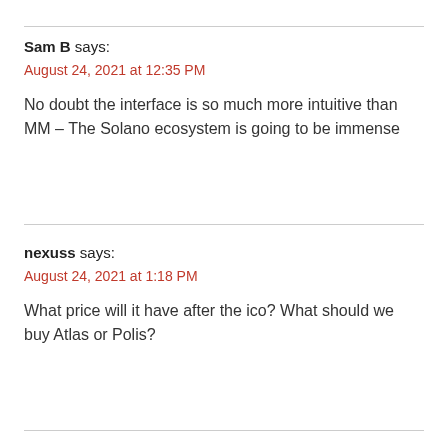Sam B says:
August 24, 2021 at 12:35 PM
No doubt the interface is so much more intuitive than MM – The Solano ecosystem is going to be immense
nexuss says:
August 24, 2021 at 1:18 PM
What price will it have after the ico? What should we buy Atlas or Polis?